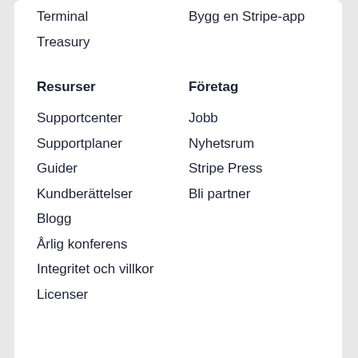Terminal
Treasury
Bygg en Stripe-app
Resurser
Företag
Supportcenter
Jobb
Supportplaner
Nyhetsrum
Guider
Stripe Press
Kundberättelser
Bli partner
Blogg
Årlig konferens
Integritet och villkor
Licenser
You're viewing our website for Poland, but it looks like you're in the United States.
Switch to the United States site ›